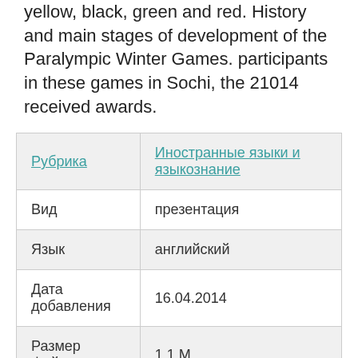yellow, black, green and red. History and main stages of development of the Paralympic Winter Games. participants in these games in Sochi, the 21014 received awards.
| Рубрика | Иностранные языки и языкознание |
| --- | --- |
| Вид | презентация |
| Язык | английский |
| Дата добавления | 16.04.2014 |
| Размер файла | 1,1 М |
Соглашение об использовании материалов сайта